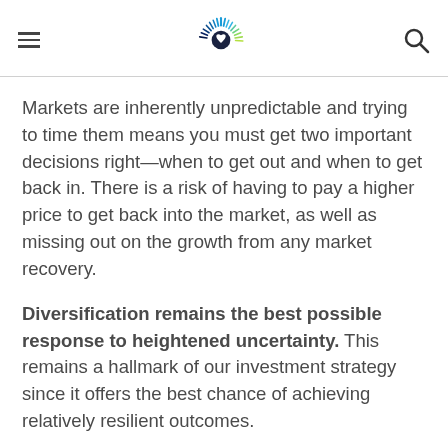[hamburger menu] [logo] [search icon]
Markets are inherently unpredictable and trying to time them means you must get two important decisions right—when to get out and when to get back in. There is a risk of having to pay a higher price to get back into the market, as well as missing out on the growth from any market recovery.
Diversification remains the best possible response to heightened uncertainty. This remains a hallmark of our investment strategy since it offers the best chance of achieving relatively resilient outcomes.